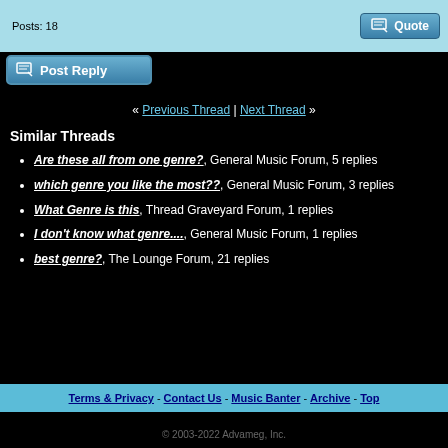Posts: 18
Quote
Post Reply
« Previous Thread | Next Thread »
Similar Threads
Are these all from one genre?, General Music Forum, 5 replies
which genre you like the most??, General Music Forum, 3 replies
What Genre is this, Thread Graveyard Forum, 1 replies
I don't know what genre...., General Music Forum, 1 replies
best genre?, The Lounge Forum, 21 replies
Terms & Privacy - Contact Us - Music Banter - Archive - Top
© 2003-2022 Advameg, Inc.